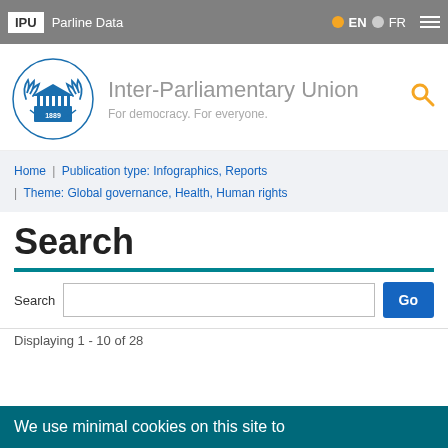IPU | Parline Data | EN | FR
[Figure (logo): Inter-Parliamentary Union logo with blue laurel wreath and building, established 1889]
Inter-Parliamentary Union
For democracy. For everyone.
Home | Publication type: Infographics, Reports | Theme: Global governance, Health, Human rights
Search
Search [input field] Go
Displaying 1 - 10 of 28
We use minimal cookies on this site to